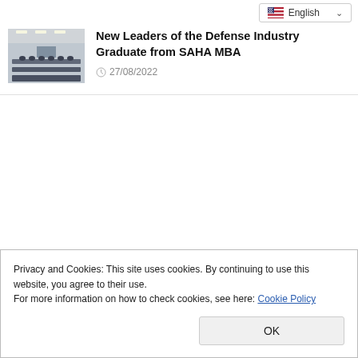English
[Figure (photo): Interior photo of a lecture hall or conference room with rows of seats and people seated, ceiling-mounted lighting and audiovisual equipment visible]
New Leaders of the Defense Industry Graduate from SAHA MBA
27/08/2022
Privacy and Cookies: This site uses cookies. By continuing to use this website, you agree to their use.
For more information on how to check cookies, see here: Cookie Policy